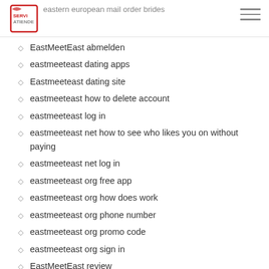eastern european mail order brides
EastMeetEast abmelden
eastmeeteast dating apps
Eastmeeteast dating site
eastmeeteast how to delete account
eastmeeteast log in
eastmeeteast net how to see who likes you on without paying
eastmeeteast net log in
eastmeeteast org free app
eastmeeteast org how does work
eastmeeteast org phone number
eastmeeteast org promo code
eastmeeteast org sign in
EastMeetEast review
eastmeeteast review log in
eastmeeteast review review